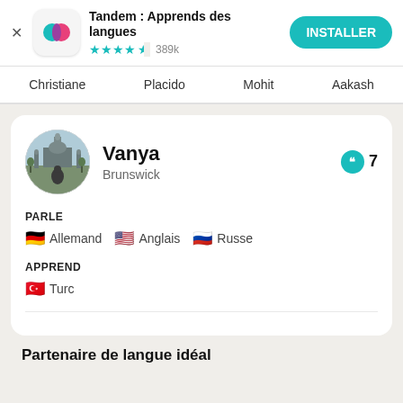[Figure (screenshot): Tandem app header with icon, name, star rating (4.5 stars, 389k reviews), and INSTALLER button]
Christiane   Placido   Mohit   Aakash
[Figure (photo): Profile avatar photo of Vanya showing outdoor scene with mosque in background]
Vanya
Brunswick
7
PARLE
Allemand   Anglais   Russe
APPREND
Turc
Partenaire de langue idéal